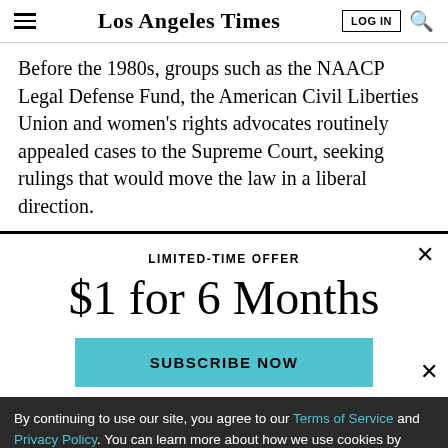Los Angeles Times — LOG IN [search]
Before the 1980s, groups such as the NAACP Legal Defense Fund, the American Civil Liberties Union and women's rights advocates routinely appealed cases to the Supreme Court, seeking rulings that would move the law in a liberal direction.
LIMITED-TIME OFFER
$1 for 6 Months
SUBSCRIBE NOW
By continuing to use our site, you agree to our Terms of Service and Privacy Policy. You can learn more about how we use cookies by reviewing our Privacy Policy. Close